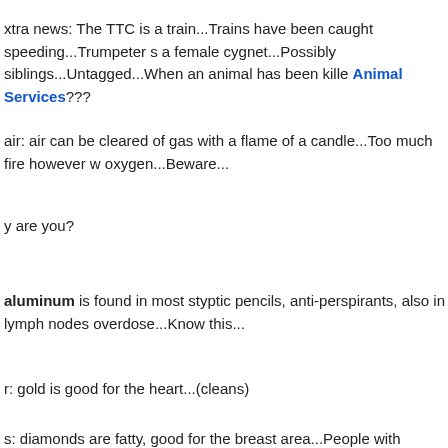xtra news: The TTC is a train...Trains have been caught speeding...Trumpeter s a female cygnet...Possibly siblings...Untagged...When an animal has been kille Animal Services???
air: air can be cleared of gas with a flame of a candle...Too much fire however w oxygen...Beware...
y are you?
aluminum is found in most styptic pencils, anti-perspirants, also in lymph nodes overdose...Know this...
r: gold is good for the heart...(cleans)
s: diamonds are fatty, good for the breast area...People with Crohn's diseas